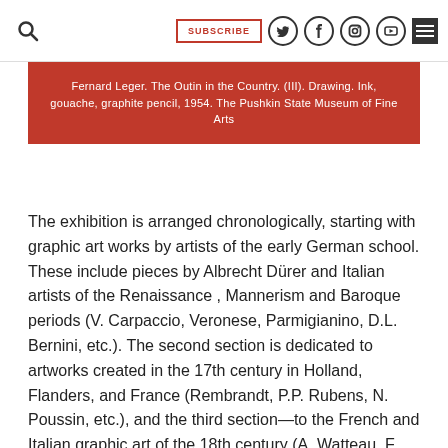SUBSCRIBE [navigation icons]
Fernard Leger. The Outin in the Country. (III). Drawing. Ink, gouache, graphite pencil, 1954. The Pushkin State Museum of Fine Arts
The exhibition is arranged chronologically, starting with graphic art works by artists of the early German school. These include pieces by Albrecht Dürer and Italian artists of the Renaissance , Mannerism and Baroque periods (V. Carpaccio, Veronese, Parmigianino, D.L. Bernini, etc.). The second section is dedicated to artworks created in the 17th century in Holland, Flanders, and France (Rembrandt, P.P. Rubens, N. Poussin, etc.), and the third section—to the French and Italian graphic art of the 18th century (A. Watteau, F. Boucher, J.-H. Fragonard, H. Robert, J.-B. Greuze, J.-L. David, G.B. Tiepolo, etc.). Farther on, the exhibition embraces different milestones of the 19th century's history of drawing in Germany, France, and Russia: from romanticism to